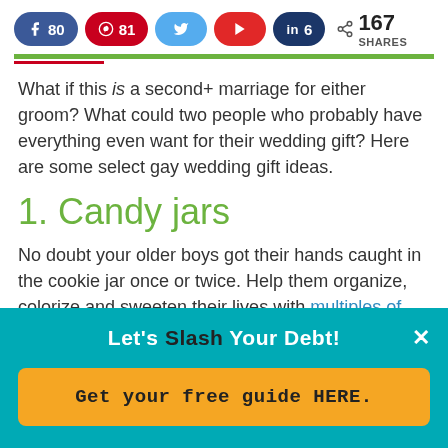[Figure (infographic): Social media share buttons: Facebook (80), Pinterest (81), Twitter, Flipboard, LinkedIn (6), and share count 167 SHARES]
What if this is a second+ marriage for either groom? What could two people who probably have everything even want for their wedding gift? Here are some select gay wedding gift ideas.
1. Candy jars
No doubt your older boys got their hands caught in the cookie jar once or twice. Help them organize, colorize and sweeten their lives with multiples of this parlor-
Let's Slash Your Debt!
Get your free guide HERE.